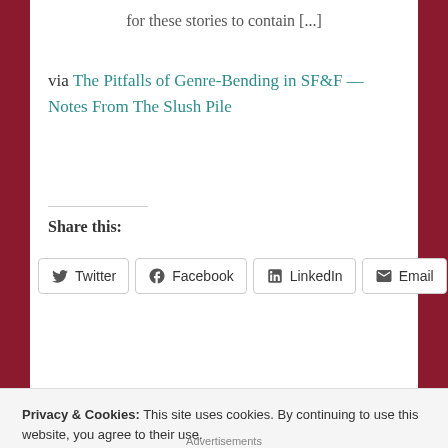for these stories to contain [...]
via The Pitfalls of Genre-Bending in SF&F — Notes From The Slush Pile
Share this:
Twitter  Facebook  LinkedIn  Email
Privacy & Cookies: This site uses cookies. By continuing to use this website, you agree to their use.
To find out more, including how to control cookies, see here:
Cookie Policy
Close and accept
Advertisements